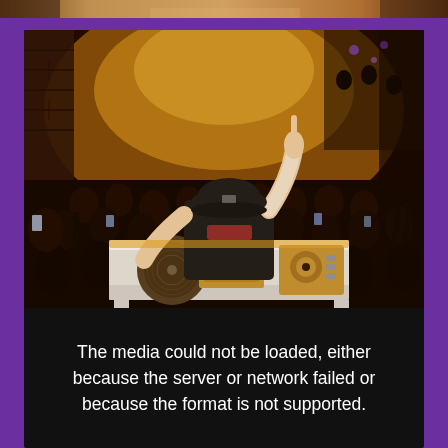[Figure (photo): A thin horizontal strip of a photo at the very top of the page, showing partial warm golden/brown tones, appears to be a cropped top sliver of a concert or event photo.]
[Figure (photo): A fisheye-lens concert photo of a DJ performing on stage, viewed from behind. The DJ wears a black cap and shirt, one arm raised with hand pointing up. DJ equipment (turntables, mixer) on a white table in front. A large crowd fills the venue. Warm golden-orange stage lighting illuminates the scene.]
The media could not be loaded, either because the server or network failed or because the format is not supported.